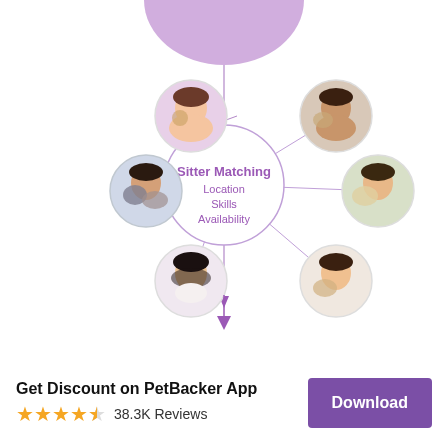[Figure (infographic): Sitter Matching infographic showing a central circle labeled 'Sitter Matching / Location / Skills / Availability' surrounded by 6 circular avatar photos of people with pets, connected by lines. A large purple circle is partially visible at the top. Arrows point from top and bottom toward/from the center.]
Get Discount on PetBacker App
38.3K Reviews
Download